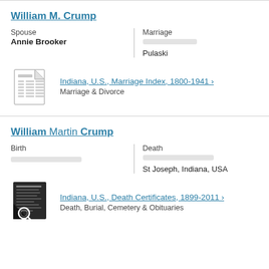William M. Crump
Spouse
Annie Brooker
Marriage
[blurred]
Pulaski
[Figure (illustration): Document icon representing a record/index file]
Indiana, U.S., Marriage Index, 1800-1941 >
Marriage & Divorce
William Martin Crump
Birth
[blurred]
Death
[blurred]
St Joseph, Indiana, USA
[Figure (illustration): Death certificate thumbnail image icon]
Indiana, U.S., Death Certificates, 1899-2011 >
Death, Burial, Cemetery & Obituaries